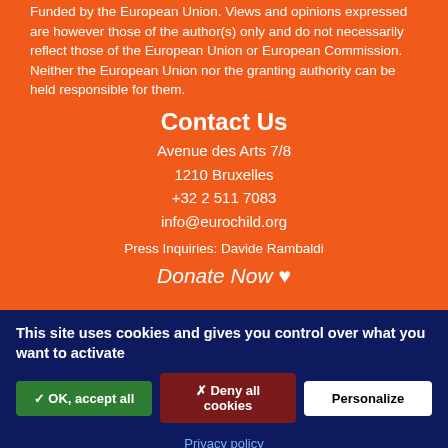Funded by the European Union. Views and opinions expressed are however those of the author(s) only and do not necessarily reflect those of the European Union or European Commission. Neither the European Union nor the granting authority can be held responsible for them.
Contact Us
Avenue des Arts 7/8
1210 Bruxelles
+32 2 511 7083
info@eurochild.org
Press Inquiries: Davide Rambaldi
Donate Now ♥
This site uses cookies and gives you control over what you want to activate
✓ OK, accept all | ✗ Deny all cookies | Personalize
Privacy policy